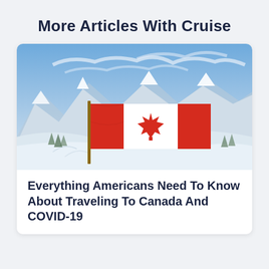More Articles With Cruise
[Figure (photo): Canadian flag waving in front of snow-capped mountains under a partly cloudy blue sky]
Everything Americans Need To Know About Traveling To Canada And COVID-19